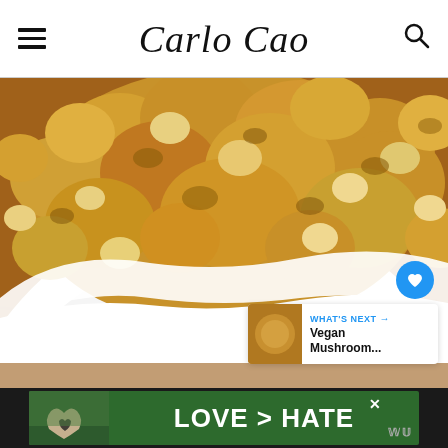Carlo Cao
[Figure (photo): Close-up photo of a golden crumble topping in a white ceramic baking dish, placed on a wooden surface. The crumble has a rough, textured appearance with golden-brown chunks.]
[Figure (infographic): WHAT'S NEXT arrow callout with thumbnail and text: Vegan Mushroom...]
[Figure (infographic): Advertisement banner: LOVE > HATE with hands forming heart shape, on dark background with green area. X close button visible.]